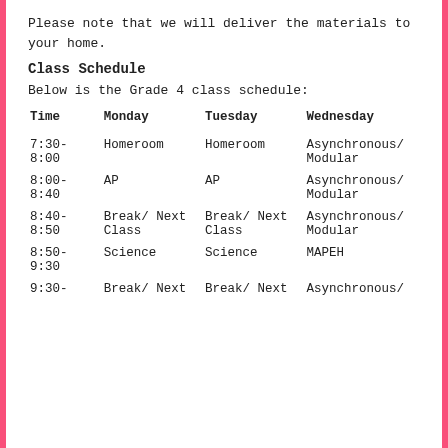Please note that we will deliver the materials to your home.
Class Schedule
Below is the Grade 4 class schedule:
| Time | Monday | Tuesday | Wednesday |
| --- | --- | --- | --- |
| 7:30-
8:00 | Homeroom | Homeroom | Asynchronous/
Modular |
| 8:00-
8:40 | AP | AP | Asynchronous/
Modular |
| 8:40-
8:50 | Break/ Next
Class | Break/ Next
Class | Asynchronous/
Modular |
| 8:50-
9:30 | Science | Science | MAPEH |
| 9:30-
... | Break/ Next
Class | Break/ Next
Class | Asynchronous/
Modular |